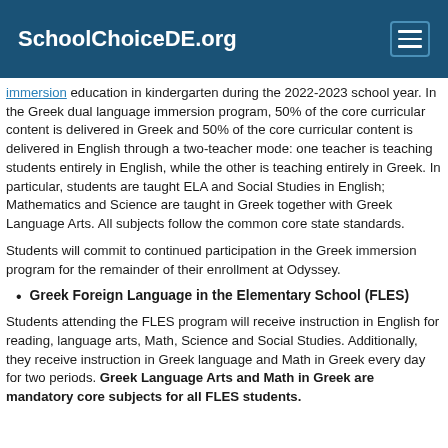SchoolChoiceDE.org
immersion education in kindergarten during the 2022-2023 school year. In the Greek dual language immersion program, 50% of the core curricular content is delivered in Greek and 50% of the core curricular content is delivered in English through a two-teacher mode: one teacher is teaching students entirely in English, while the other is teaching entirely in Greek. In particular, students are taught ELA and Social Studies in English; Mathematics and Science are taught in Greek together with Greek Language Arts. All subjects follow the common core state standards.
Students will commit to continued participation in the Greek immersion program for the remainder of their enrollment at Odyssey.
Greek Foreign Language in the Elementary School (FLES)
Students attending the FLES program will receive instruction in English for reading, language arts, Math, Science and Social Studies. Additionally, they receive instruction in Greek language and Math in Greek every day for two periods. Greek Language Arts and Math in Greek are mandatory core subjects for all FLES students.